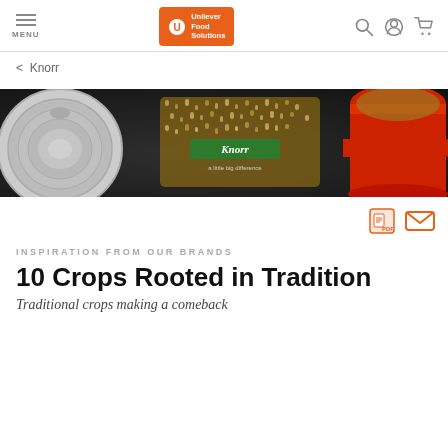MENU | Unilever Food Solutions | Search | Account | Cart
< Knorr
[Figure (photo): Dark background hero banner showing a gray pot lid on the left, a red Dutch oven with grains in center-right, with the Knorr logo badge and tagline 'a little big difference' overlaid]
[Figure (other): PDF download icon and Email icon action buttons]
INSPIRATION FROM OUR BRANDS
10 Crops Rooted in Tradition
Traditional crops making a comeback